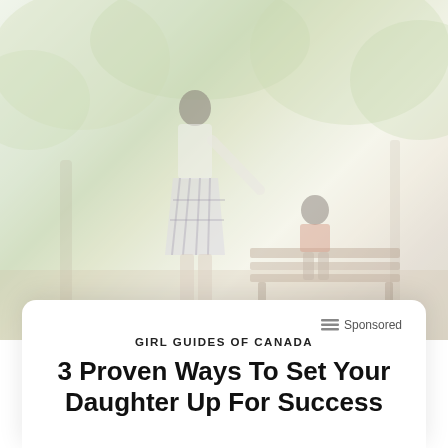[Figure (photo): Faded/washed-out outdoor park scene showing an adult woman in a plaid skirt standing and a child sitting on a bench, surrounded by trees with green foliage]
Sponsored
GIRL GUIDES OF CANADA
3 Proven Ways To Set Your Daughter Up For Success